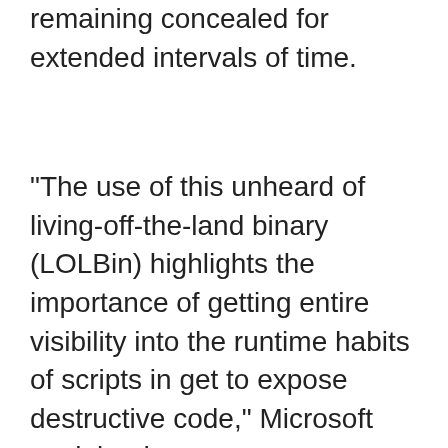remaining concealed for extended intervals of time.
“The use of this unheard of living-off-the-land binary (LOLBin) highlights the importance of getting entire visibility into the runtime habits of scripts in get to expose destructive code,” Microsoft explained.
Identified this write-up appealing? Abide by THN on Fb, Twitter Ⅱ and LinkedIn to study additional distinctive content material we article.
Some sections of this short article